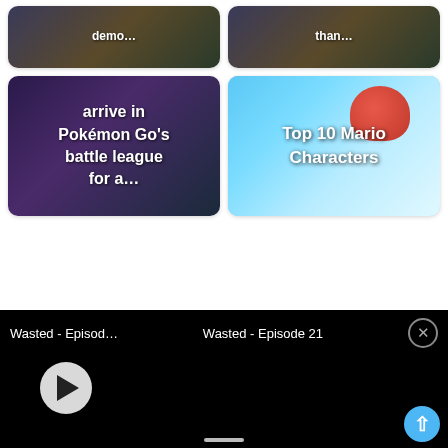[Figure (screenshot): Thumbnail card showing partial text 'demo...' over a dark game screenshot background]
[Figure (screenshot): Thumbnail card showing partial text 'than...' over a dark game screenshot background]
[Figure (screenshot): Thumbnail card showing text 'arrive in Pokémon Go's battle league for a...' over a dark Pokémon game screenshot]
[Figure (screenshot): Thumbnail card showing text 'Top 10 Mario Characters' over a bright blue Mario game screenshot with Mario character]
[Figure (screenshot): Black video player bar at bottom showing 'Wasted - Episod...' on left, 'Wasted - Episode 21' in center, close button on right, and a circular play button]